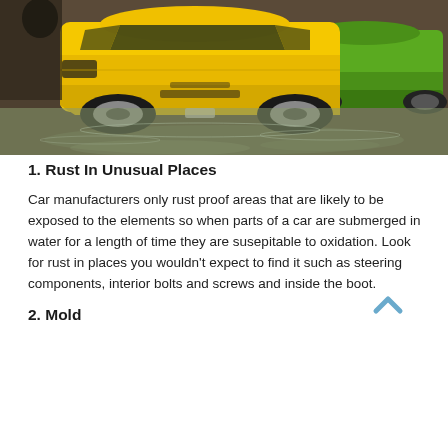[Figure (photo): Photo of a yellow Ferrari and green Lamborghini sports cars submerged in floodwater inside what appears to be an indoor parking area or showroom.]
1. Rust In Unusual Places
Car manufacturers only rust proof areas that are likely to be exposed to the elements so when parts of a car are submerged in water for a length of time they are susepitable to oxidation. Look for rust in places you wouldn't expect to find it such as steering components, interior bolts and screws and inside the boot.
2. Mold
If f...